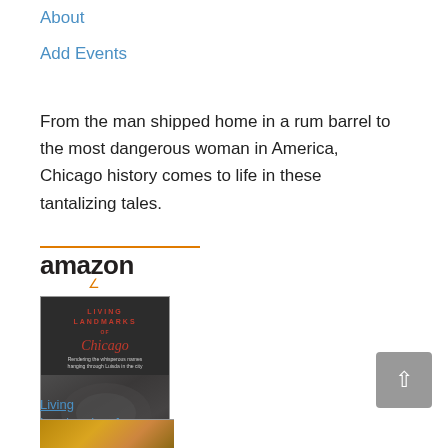About
Add Events
From the man shipped home in a rum barrel to the most dangerous woman in America, Chicago history comes to life in these tantalizing tales.
[Figure (logo): Amazon logo with orange smile, book cover of Living Landmarks of Chicago, and Prime badge]
Living Landmarks of...
$19.99 ✓Prime